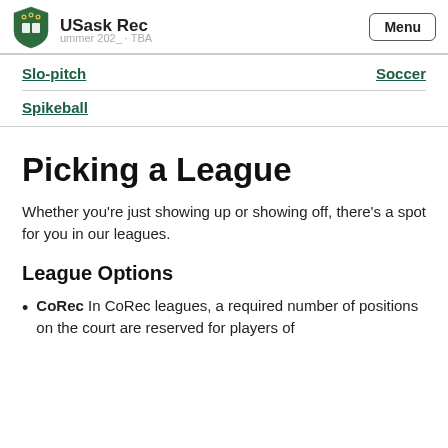USask Rec  Menu
Slo-pitch   Soccer
Spikeball
Picking a League
Whether you’re just showing up or showing off, there’s a spot for you in our leagues.
League Options
CoRec In CoRec leagues, a required number of positions on the court are reserved for players of